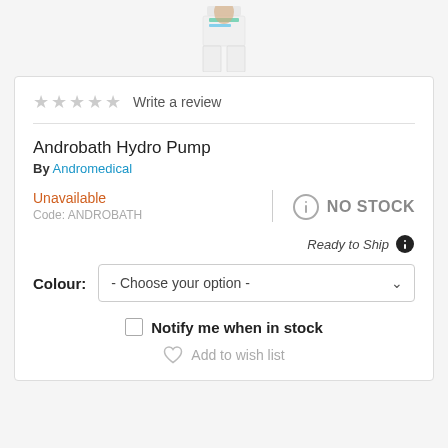[Figure (photo): Product image of Androbath Hydro Pump - a person wearing white underwear/shorts]
★★★★★  Write a review
Androbath Hydro Pump
By Andromedical
Unavailable
Code: ANDROBATH
NO STOCK
Ready to Ship
Colour: - Choose your option -
Notify me when in stock
Add to wish list